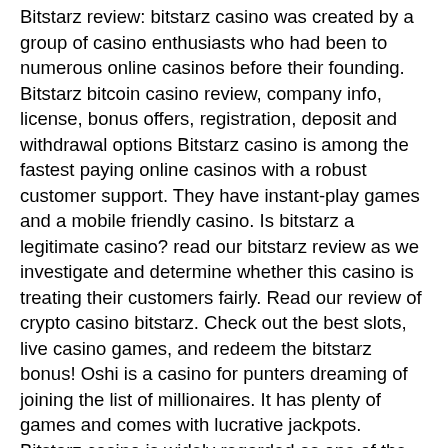Bitstarz review: bitstarz casino was created by a group of casino enthusiasts who had been to numerous online casinos before their founding. Bitstarz bitcoin casino review, company info, license, bonus offers, registration, deposit and withdrawal options Bitstarz casino is among the fastest paying online casinos with a robust customer support. They have instant-play games and a mobile friendly casino. Is bitstarz a legitimate casino? read our bitstarz review as we investigate and determine whether this casino is treating their customers fairly. Read our review of crypto casino bitstarz. Check out the best slots, live casino games, and redeem the bitstarz bonus! Oshi is a casino for punters dreaming of joining the list of millionaires. It has plenty of games and comes with lucrative jackpots. Bitstarz casino is widely regarded as one of the slickest online casinos around – and for good reason. Its user interface manages to